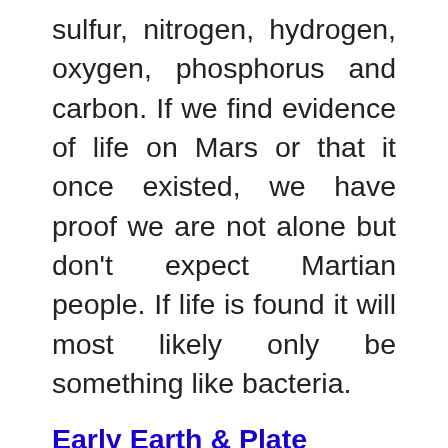sulfur, nitrogen, hydrogen, oxygen, phosphorus and carbon. If we find evidence of life on Mars or that it once existed, we have proof we are not alone but don't expect Martian people. If life is found it will most likely only be something like bacteria.
Early Earth & Plate Tectonics
This one talks of the possibility of a number of land masses forming over time and gives them names. This is quite possible but I am happy